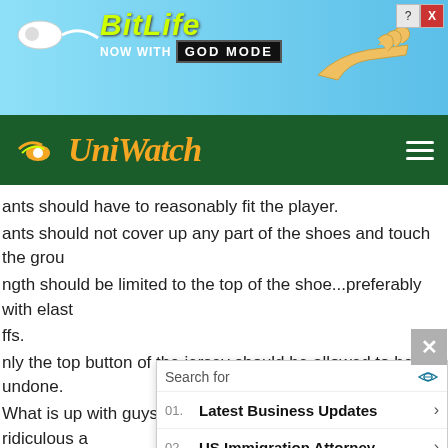[Figure (screenshot): BitLife advertisement banner - 'NOW WITH GOD MODE' with sperm logo and pointing hand, on light blue background]
[Figure (logo): Uni Watch logo on dark green navigation bar with hamburger menu]
ants should have to reasonably fit the player.
ants should not cover up any part of the shoes and touch the ground
ngth should be limited to the top of the shoe...preferably with elast
ffs.
nly the top button of the jersey should be allowed to be undone.
What is up with guys pulling their back pockets out??? It's ridiculous a
deous.

nink Big Papi is just about the biggest uni offender/abuser and he's
oung guy.
Phantom Dreamer
May 1, 201
How abo concern
[Figure (screenshot): Yahoo Search sponsored popup with two results: 01. Latest Business Updates, 02. US Immigration Attorney]